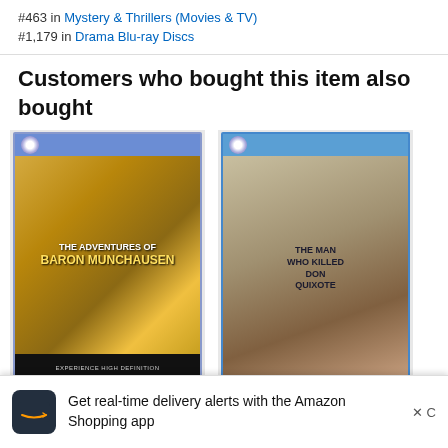#463 in Mystery & Thrillers (Movies & TV)
#1,179 in Drama Blu-ray Discs
Customers who bought this item also bought
[Figure (photo): Blu-ray cover of The Adventures of Baron Munchausen]
The Adventures of Baron
[Figure (photo): Blu-ray cover of The Man Who Killed Don Quixote featuring Adam Driver]
The Man Who Killed Don
Get real-time delivery alerts with the Amazon Shopping app